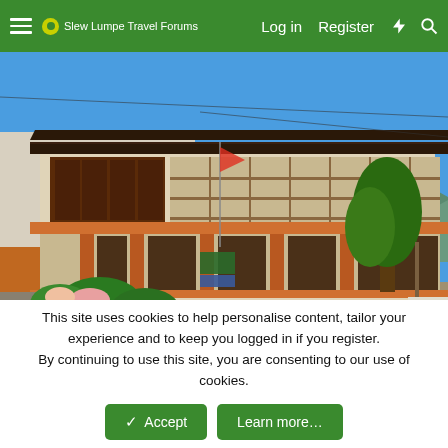Slew Lumpe Travel Forums  Log in  Register
[Figure (photo): Traditional Bhutanese building with ornate wooden balconies, orange and white painted walls, multiple stories, blue sky in background, tropical plants in foreground]
This site uses cookies to help personalise content, tailor your experience and to keep you logged in if you register.
By continuing to use this site, you are consenting to our use of cookies.
Accept  Learn more...